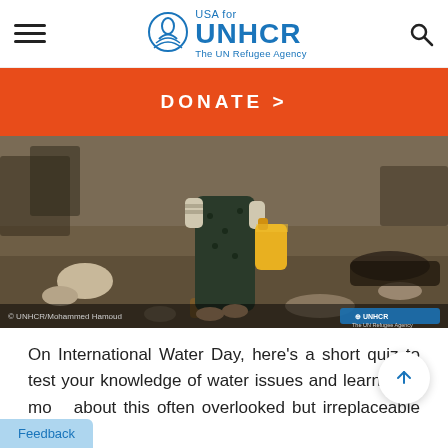USA for UNHCR The UN Refugee Agency
DONATE >
[Figure (photo): A woman carrying a yellow jerrycan walking on dry, rocky ground in a refugee setting. © UNHCR/Mohammed Hamoud]
On International Water Day, here's a short quiz to test your knowledge of water issues and learn a bit more about this often overlooked but irreplaceable resource